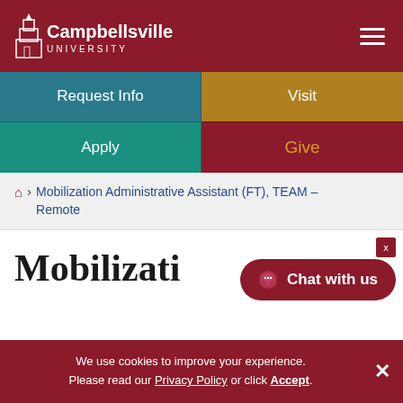Campbellsville University
Request Info
Visit
Apply
Give
Home › Mobilization Administrative Assistant (FT), TEAM – Remote
Mobilizati...
Chat with us
We use cookies to improve your experience. Please read our Privacy Policy or click Accept.